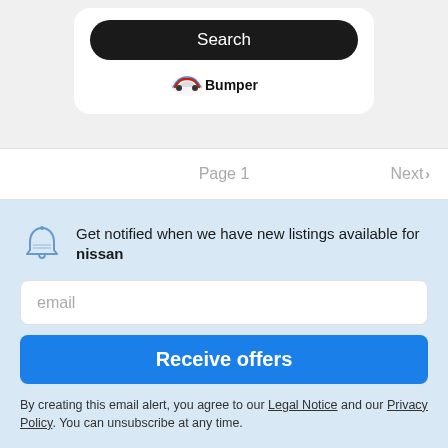[Figure (logo): Bumper logo with car icon and text 'Bumper']
Page 1
Next >
Get notified when we have new listings available for nissan
email
Receive offers
By creating this email alert, you agree to our Legal Notice and our Privacy Policy. You can unsubscribe at any time.